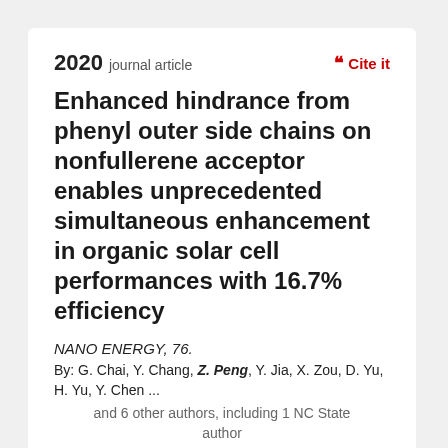2020 journal article
Cite it
Enhanced hindrance from phenyl outer side chains on nonfullerene acceptor enables unprecedented simultaneous enhancement in organic solar cell performances with 16.7% efficiency
NANO ENERGY, 76.
By: G. Chai, Y. Chang, Z. Peng, Y. Jia, X. Zou, D. Yu, H. Yu, Y. Chen ...
and 6 other authors, including 1 NC State author
10.1016/j.nanoen.2020.105087